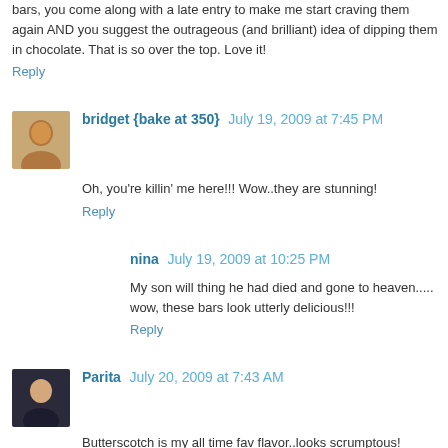bars, you come along with a late entry to make me start craving them again AND you suggest the outrageous (and brilliant) idea of dipping them in chocolate. That is so over the top. Love it!
Reply
bridget {bake at 350}  July 19, 2009 at 7:45 PM
Oh, you're killin' me here!!! Wow..they are stunning!
Reply
nina  July 19, 2009 at 10:25 PM
My son will thing he had died and gone to heaven..... wow, these bars look utterly delicious!!!
Reply
Parita  July 20, 2009 at 7:43 AM
Butterscotch is my all time fav flavor..looks scrumptous!